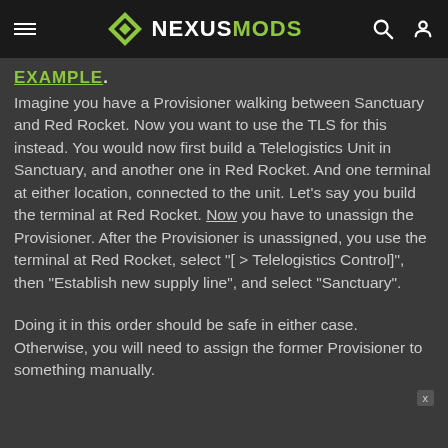NEXUSMODS
EXAMPLE.
Imagine you have a Provisioner walking between Sanctuary and Red Rocket. Now you want to use the TLS for this instead. You would now first build a Telelogistics Unit in Sanctuary, and another one in Red Rocket. And one terminal at either location, connected to the unit. Let's say you build the terminal at Red Rocket. Now you have to unassign the Provisioner. After the Provisioner is unassigned, you use the terminal at Red Rocket, select "[ > Telelogistics Control]", then "Establish new supply line", and select "Sanctuary".
Doing it in this order should be safe in either case. Otherwise, you will need to assign the former Provisioner to something manually.